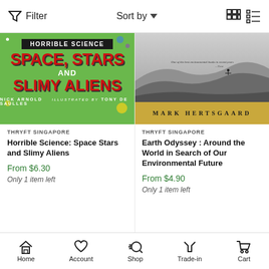Filter   Sort by   [grid/list view icons]
[Figure (photo): Book cover: Horrible Science: Space, Stars and Slimy Aliens by Nick Arnold, illustrated by Tony De Saulles. Green background with large red text.]
THRYFT SINGAPORE
Horrible Science: Space Stars and Slimy Aliens
From $6.30
Only 1 item left
[Figure (photo): Book cover: Earth Odyssey: Around the World in Search of Our Environmental Future by Mark Hertsgaard. Black and white desert/dune landscape photo with yellow author name band at bottom.]
THRYFT SINGAPORE
Earth Odyssey : Around the World in Search of Our Environmental Future
From $4.90
Only 1 item left
Home   Account   Shop   Trade-in   Cart